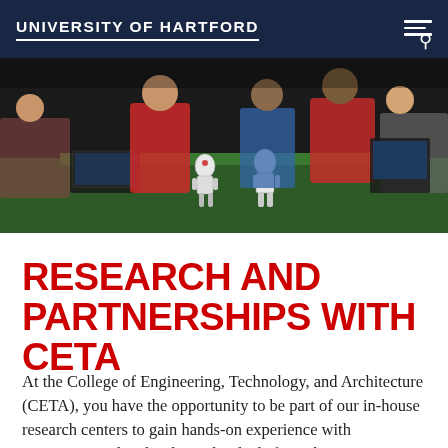UNIVERSITY OF HARTFORD
[Figure (photo): Students gathered around small humanoid robots on a green table surface at a robotics event or competition. Students are wearing casual clothing including red shirts. The scene appears to be an indoor event with people in the background.]
RESEARCH AND PARTNERSHIPS WITH CETA
At the College of Engineering, Technology, and Architecture (CETA), you have the opportunity to be part of our in-house research centers to gain hands-on experience with engineering related tasks. Individuals from the community are able to bring in equipment for you to troubleshoot alongside